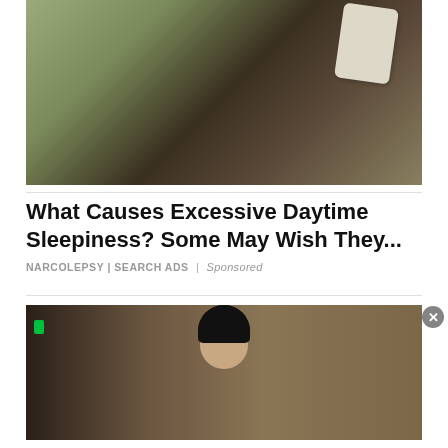[Figure (photo): Elderly man in dark sweater sleeping in an armchair with a pillow behind him]
What Causes Excessive Daytime Sleepiness? Some May Wish They...
Narcolepsy | Search Ads | Sponsored
[Figure (photo): Person with dark hair, partial view, indoor setting with green light visible]